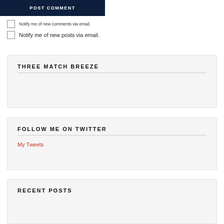POST COMMENT
Notify me of new comments via email.
Notify me of new posts via email.
THREE MATCH BREEZE
FOLLOW ME ON TWITTER
My Tweets
RECENT POSTS